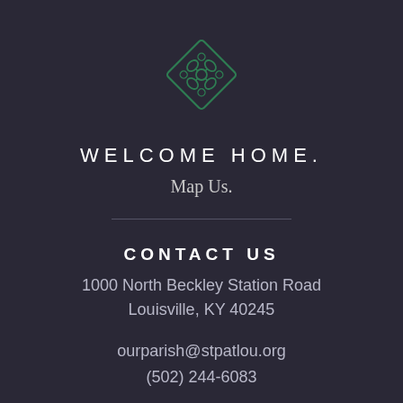[Figure (logo): Green decorative diamond-shaped Celtic knot logo icon]
WELCOME HOME.
Map Us.
CONTACT US
1000 North Beckley Station Road
Louisville, KY 40245
ourparish@stpatlou.org
(502) 244-6083